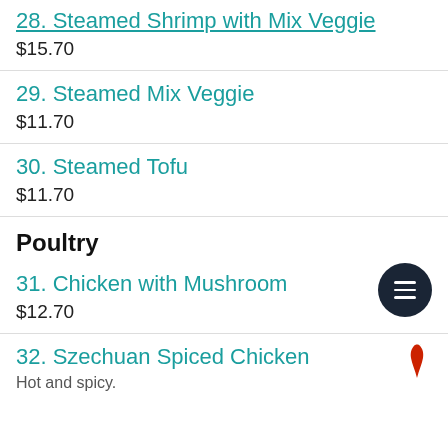28. Steamed Shrimp with Mix Veggie
$15.70
29. Steamed Mix Veggie
$11.70
30. Steamed Tofu
$11.70
Poultry
31. Chicken with Mushroom
$12.70
32. Szechuan Spiced Chicken
Hot and spicy.